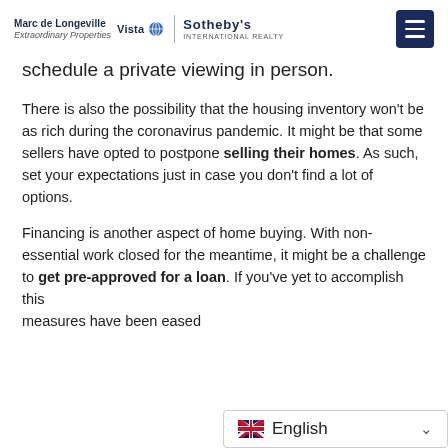Marc de Longeville Extraordinary Properties Vista Sotheby's International Realty
schedule a private viewing in person.
There is also the possibility that the housing inventory won't be as rich during the coronavirus pandemic. It might be that some sellers have opted to postpone selling their homes. As such, set your expectations just in case you don't find a lot of options.
Financing is another aspect of home buying. With non-essential work closed for the meantime, it might be a challenge to get pre-approved for a loan. If you've yet to accomplish this measures have been eased